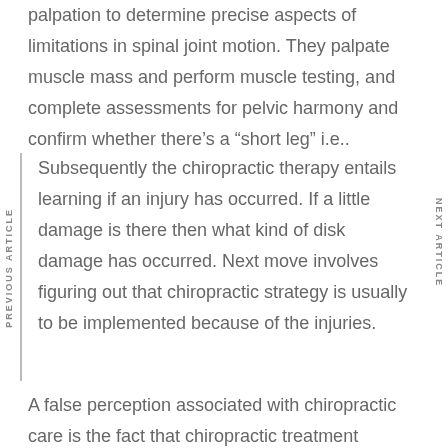palpation to determine precise aspects of limitations in spinal joint motion. They palpate muscle mass and perform muscle testing, and complete assessments for pelvic harmony and confirm whether there's a "short leg" i.e..
Subsequently the chiropractic therapy entails learning if an injury has occurred. If a little damage is there then what kind of disk damage has occurred. Next move involves figuring out that chiropractic strategy is usually to be implemented because of the injuries.
A false perception associated with chiropractic care is the fact that chiropractic treatment demands "popping a disc back in place" with